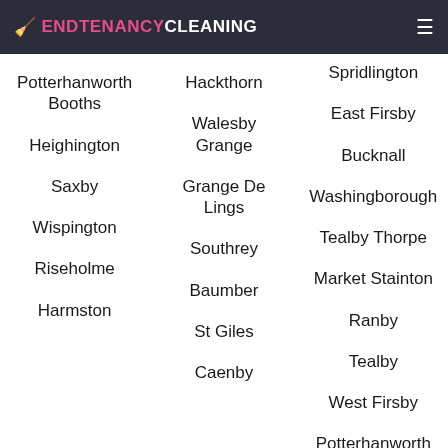ENDTENANCYCLEANING
Spridlington
Potterhanworth Booths
Hackthorn
East Firsby
Walesby Grange
Bucknall
Washingborough
Heighington
Grange De Lings
Tealby Thorpe
Market Stainton
Saxby
Southrey
Ranby
Wispington
Baumber
Tealby
Riseholme
St Giles
West Firsby
Harmston
Caenby
Potterhanworth